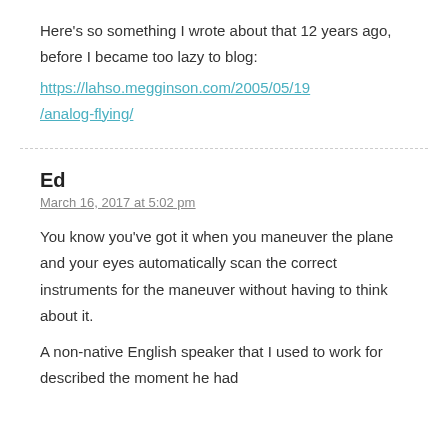Here's so something I wrote about that 12 years ago, before I became too lazy to blog:
https://lahso.megginson.com/2005/05/19/analog-flying/
Ed
March 16, 2017 at 5:02 pm
You know you've got it when you maneuver the plane and your eyes automatically scan the correct instruments for the maneuver without having to think about it.
A non-native English speaker that I used to work for described the moment he had